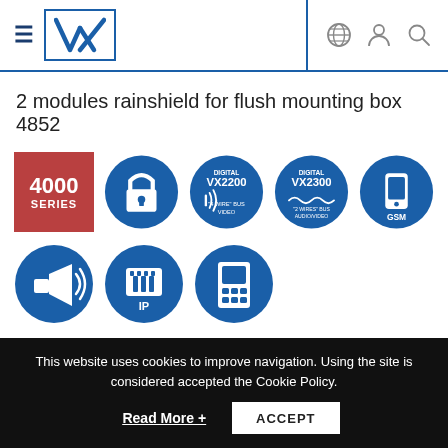VX logo header with navigation icons
2 modules rainshield for flush mounting box 4852
[Figure (infographic): Row 1 of compatibility icons: 4000 SERIES badge (red square), padlock icon (blue circle), VX2200 DIGITAL '4 WIRE' BUS VIDEO icon (blue circle), VX2300 DIGITAL '2 WIRES' BUS AUDIO/VIDEO icon (blue circle), GSM mobile phone icon (blue circle)]
[Figure (infographic): Row 2 of compatibility icons: speaker/megaphone icon (blue circle), IP network connector icon (blue circle), intercom panel icon (blue circle)]
This website uses cookies to improve navigation. Using the site is considered accepted the Cookie Policy.
Read More +
ACCEPT